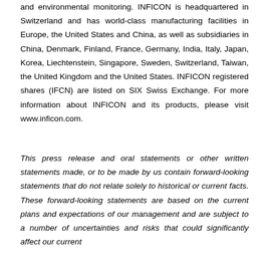and environmental monitoring. INFICON is headquartered in Switzerland and has world-class manufacturing facilities in Europe, the United States and China, as well as subsidiaries in China, Denmark, Finland, France, Germany, India, Italy, Japan, Korea, Liechtenstein, Singapore, Sweden, Switzerland, Taiwan, the United Kingdom and the United States. INFICON registered shares (IFCN) are listed on SIX Swiss Exchange. For more information about INFICON and its products, please visit www.inficon.com.
This press release and oral statements or other written statements made, or to be made by us contain forward-looking statements that do not relate solely to historical or current facts. These forward-looking statements are based on the current plans and expectations of our management and are subject to a number of uncertainties and risks that could significantly affect our current